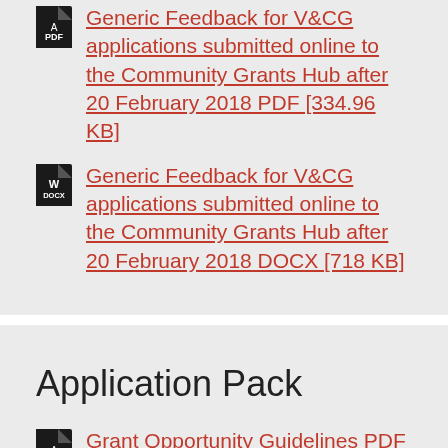Generic Feedback for V&amp;CG applications submitted online to the Community Grants Hub after 20 February 2018 PDF [334.96 KB]
Generic Feedback for V&amp;CG applications submitted online to the Community Grants Hub after 20 February 2018 DOCX [718 KB]
Application Pack
Grant Opportunity Guidelines PDF [536.03 KB]
Grant Opportunity Guidelines